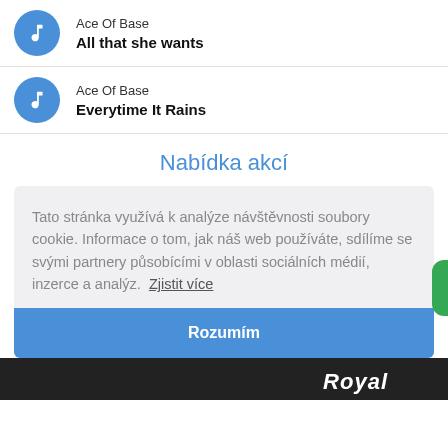Ace Of Base — All that she wants
Ace Of Base — Everytime It Rains
Nabídka akcí
Tato stránka využívá k analýze návštěvnosti soubory cookie. Informace o tom, jak náš web používáte, sdílíme se svými partnery působícími v oblasti sociálních médií, inzerce a analýz. Zjistit více
Rozumím